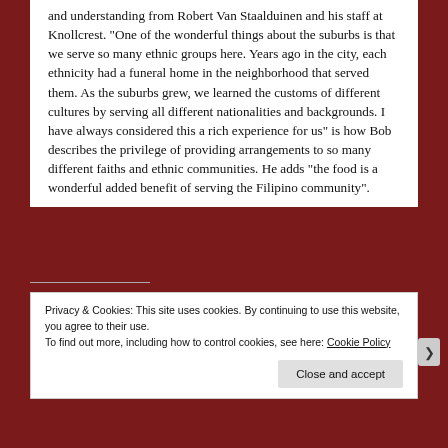and understanding from Robert Van Staalduinen and his staff at Knollcrest. “One of the wonderful things about the suburbs is that we serve so many ethnic groups here. Years ago in the city, each ethnicity had a funeral home in the neighborhood that served them. As the suburbs grew, we learned the customs of different cultures by serving all different nationalities and backgrounds. I have always considered this a rich experience for us” is how Bob describes the privilege of providing arrangements to so many different faiths and ethnic communities. He adds “the food is a wonderful added benefit of serving the Filipino community”.
Privacy & Cookies: This site uses cookies. By continuing to use this website, you agree to their use.
To find out more, including how to control cookies, see here: Cookie Policy
Close and accept